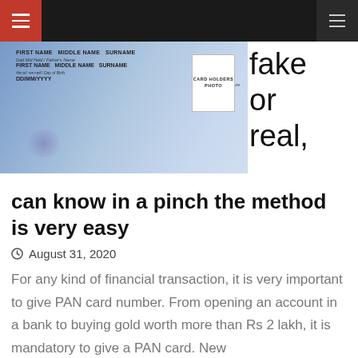[Figure (photo): PAN card photo showing front of an Indian PAN card with placeholder text: FIRST NAME MIDDLE NAME SURNAME, Father's Name, FIRST NAME MIDDLE NAME SURNAME, DOB DD/MM/YYYY, and a white box labeled CARD HOLDERS PHOTO]
fake or real, can know in a pinch the method is very easy
August 31, 2020
For any kind of financial transaction, it is very important to give PAN card number. From opening an account in a bank to buying gold worth more than Rs 2 lakh, it is mandatory to give a PAN card. New
READ MORE
Uncategorized